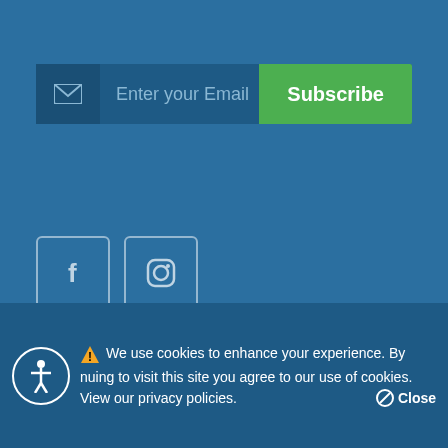[Figure (screenshot): Email subscribe input bar with envelope icon and green Subscribe button]
[Figure (screenshot): Social media icons: Facebook (f) and Instagram (camera) in outlined square boxes]
[Figure (screenshot): Payment card logos: VISA, MasterCard, Discover Network, American Express]
Hampton Development
[Figure (screenshot): Cookie consent banner with warning triangle, accessibility icon, and Close button. Text: We use cookies to enhance your experience. By continuing to visit this site you agree to our use of cookies. View our privacy policies. Close]